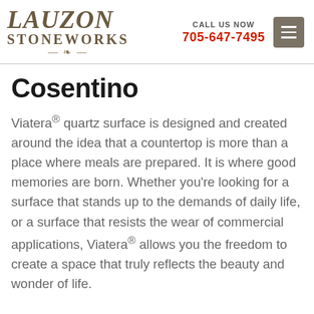[Figure (logo): Lauzon Stoneworks logo — decorative serif text with flourish underline]
CALL US NOW
705-647-7495
[Figure (other): Hamburger menu button (three horizontal lines on grey square background)]
Cosentino
Viatera® quartz surface is designed and created around the idea that a countertop is more than a place where meals are prepared. It is where good memories are born. Whether you're looking for a surface that stands up to the demands of daily life, or a surface that resists the wear of commercial applications, Viatera® allows you the freedom to create a space that truly reflects the beauty and wonder of life.